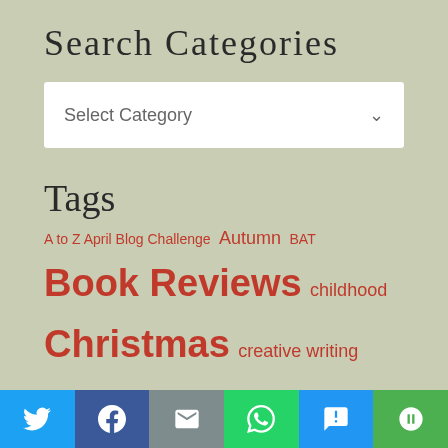Search Categories
Select Category
Tags
A to Z April Blog Challenge  Autumn  BAT  Book Reviews  childhood  Christmas  creative writing prompt  Dallas  Desserts  Eureka Springs  Fall  Fayetteville  Food  Gracie Lee  Halloween  Hemingway-Pfeiffer  home  humor  Johnson Family